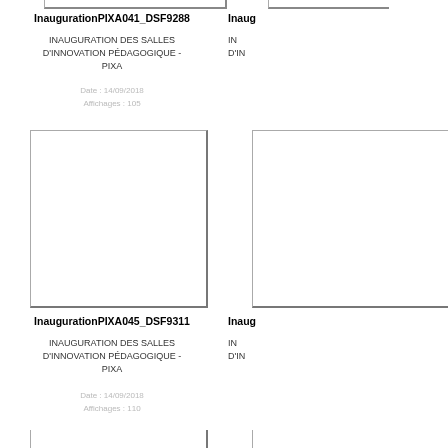[Figure (photo): Thumbnail image top of page (partially visible) - left card]
InaugurationPIXA041_DSF9288
INAUGURATION DES SALLES D'INNOVATION PÉDAGOGIQUE - PIXA
Date : 14/09/2018
Affichages : 105
[Figure (photo): Thumbnail image top of page (partially visible) - right card]
Inaug
IN
D'IN
[Figure (photo): Thumbnail image middle - left card]
[Figure (photo): Thumbnail image middle - right card (partially visible)]
InaugurationPIXA045_DSF9311
INAUGURATION DES SALLES D'INNOVATION PÉDAGOGIQUE - PIXA
Date : 14/09/2018
Affichages : 110
Inaug
IN
D'IN
[Figure (photo): Partial thumbnail at bottom of page]